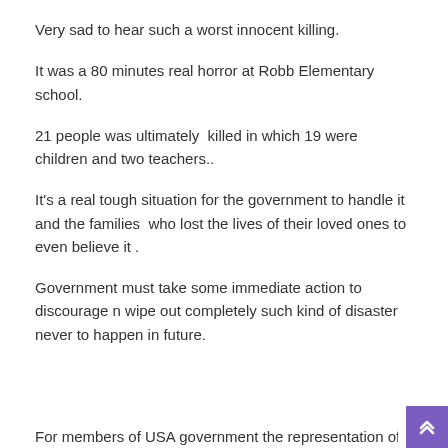Very sad to hear such a worst innocent killing.
It was a 80 minutes real horror at Robb Elementary school.
21 people was ultimately  killed in which 19 were children and two teachers..
It’s a real tough situation for the government to handle it and the families  who lost the lives of their loved ones to even believe it .
Government must take some immediate action to discourage n wipe out completely such kind of disaster never to happen in future.
For members of USA government the representation of